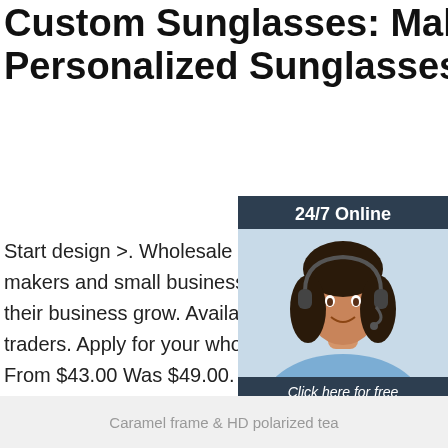Custom Sunglasses: Make Your Own Personalized Sunglasses
Start design >. Wholesale Discount. We w... makers and small businesses the best pri... their business grow. Available to selected traders. Apply for your wholesale account From $43.00 Was $49.00. Whenever the out, so should a pair of personalized sung...
[Figure (photo): Customer service representative woman with headset, chat widget overlay with '24/7 Online', 'Click here for free chat !' and orange QUOTATION button]
Get Price
[Figure (logo): TOP logo with orange dots arranged in triangle above the word TOP in orange]
Caramel frame & HD polarized tea